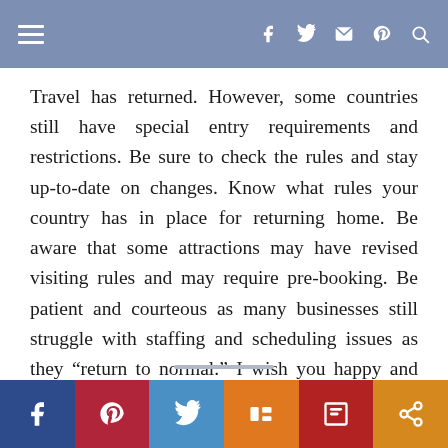Navigation bar with hamburger menu and social icons (Facebook, Twitter, Instagram, Pinterest, Search)
Travel has returned. However, some countries still have special entry requirements and restrictions. Be sure to check the rules and stay up-to-date on changes. Know what rules your country has in place for returning home. Be aware that some attractions may have revised visiting rules and may require pre-booking. Be patient and courteous as many businesses still struggle with staffing and scheduling issues as they “return to normal.” I wish you happy and safe travels.
Social sharing bar: Facebook, Pinterest, Twitter, Mix, Flipboard, Share